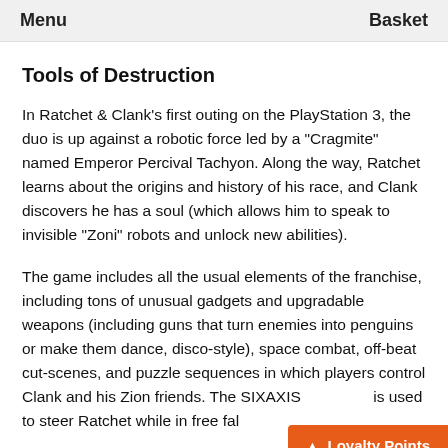Menu    Basket
Tools of Destruction
In Ratchet & Clank's first outing on the PlayStation 3, the duo is up against a robotic force led by a "Cragmite" named Emperor Percival Tachyon. Along the way, Ratchet learns about the origins and history of his race, and Clank discovers he has a soul (which allows him to speak to invisible "Zoni" robots and unlock new abilities).
The game includes all the usual elements of the franchise, including tons of unusual gadgets and upgradable weapons (including guns that turn enemies into penguins or make them dance, disco-style), space combat, off-beat cut-scenes, and puzzle sequences in which players control Clank and his Zion friends. The SIXAXIS is used to steer Ratchet while in free fal
Loyalty Points